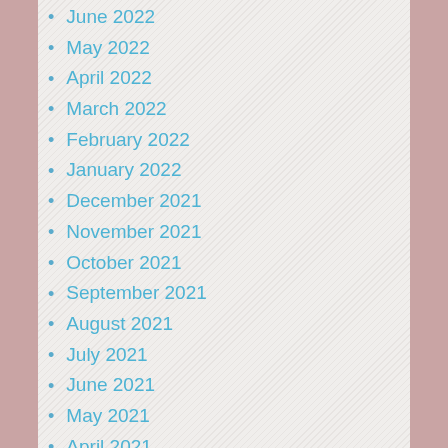June 2022
May 2022
April 2022
March 2022
February 2022
January 2022
December 2021
November 2021
October 2021
September 2021
August 2021
July 2021
June 2021
May 2021
April 2021
March 2021
February 2021
January 2021
December 2020